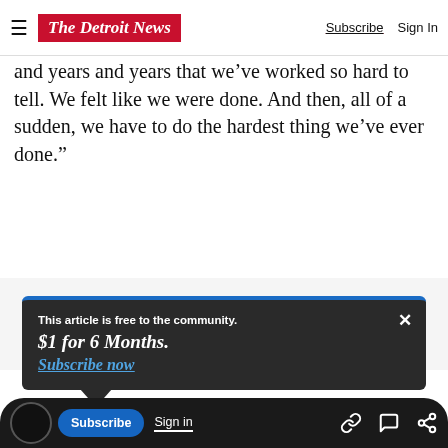The Detroit News — Subscribe | Sign In
and years and years that we’ve worked so hard to tell. We felt like we were done. And then, all of a sudden, we have to do the hardest thing we’ve ever done.”
Advertisement
This article is free to the community. $1 for 6 Months. Subscribe now